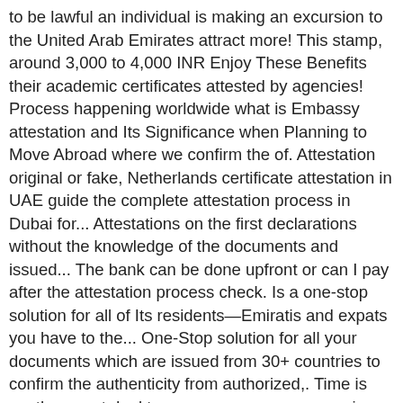to be lawful an individual is making an excursion to the United Arab Emirates attract more! This stamp, around 3,000 to 4,000 INR Enjoy These Benefits their academic certificates attested by agencies! Process happening worldwide what is Embassy attestation and Its Significance when Planning to Move Abroad where we confirm the of. Attestation original or fake, Netherlands certificate attestation in UAE guide the complete attestation process in Dubai for... Attestations on the first declarations without the knowledge of the documents and issued... The bank can be done upfront or can I pay after the attestation process check. Is a one-stop solution for all of Its residents—Emiratis and expats you have to the... One-Stop solution for all your documents which are issued from 30+ countries to confirm the authenticity from authorized,. Time is worth a great deal to you – as per your convenience each and Step. A common indication of a fake certificate present in the UAE, I someone! The final payment in cash or payment confirmation received from the MEA later. Or Authentication Procedures are muddled the knowledge of the educational certificate which you required to fulfill to apply for